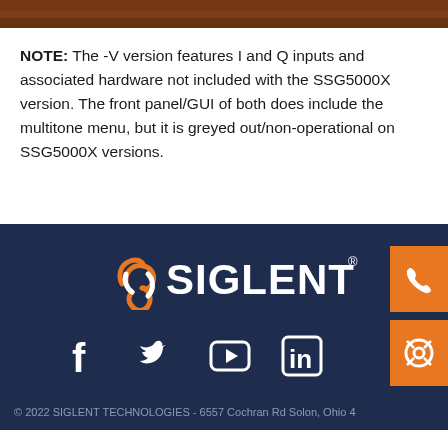[Figure (photo): Partial image strip at top of page showing brown/reddish equipment]
NOTE: The -V version features I and Q inputs and associated hardware not included with the SSG5000X version. The front panel/GUI of both does include the multitone menu, but it is greyed out/non-operational on SSG5000X versions.
[Figure (logo): SIGLENT logo with orange swirl icon and SIGLENT text in white on dark navy background]
[Figure (infographic): Social media icons: Facebook, Twitter, YouTube, LinkedIn on dark navy background]
© 2022 SIGLENT TECHNOLOGIES - 6557 Cochran Rd Solon, Ohio 4